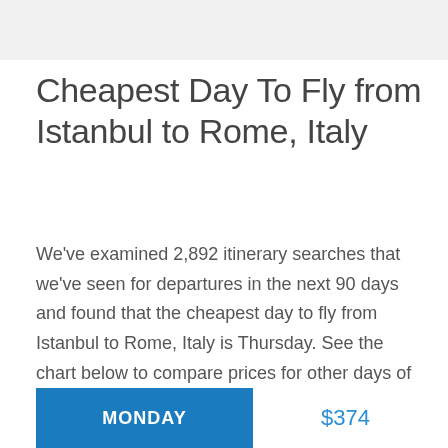Cheapest Day To Fly from Istanbul to Rome, Italy
We've examined 2,892 itinerary searches that we've seen for departures in the next 90 days and found that the cheapest day to fly from Istanbul to Rome, Italy is Thursday. See the chart below to compare prices for other days of the week.
| Day | Price |
| --- | --- |
| MONDAY | $374 |